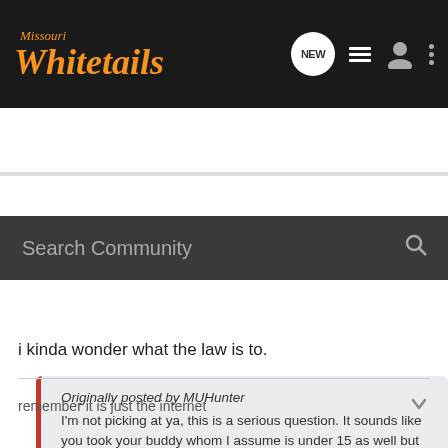[Figure (screenshot): Missouri Whitetails website header with logo and navigation icons (NEW chat, list, user, more)]
[Figure (screenshot): Search Community search bar on dark background]
Originally posted by MUHunter
I'm not picking at ya, this is a serious question. It sounds like you took your buddy whom I assume is under 15 as well but did you have a certified adult with you? Or can youths with hunter id's hunt on their own? Just curious b/c I have heard/read some other stories that didn't seem like adults were along and I guess I was confused.
i kinda wonder what the law is to.
remember it is just the internet
[Figure (screenshot): Stealth Cam advertisement banner: Scout Like A PRO]